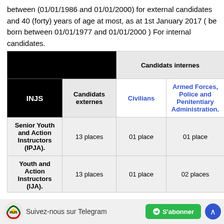between (01/01/1986 and 01/01/2000) for external candidates and 40 (forty) years of age at most, as at 1st January 2017 ( be born between 01/01/1977 and 01/01/2000 ) For internal candidates.
| INJS | Candidats externes | Civilians | Armed Forces, Police and Penitentiary Administration. |
| --- | --- | --- | --- |
| Senior Youth and Action Instructors (IPJA). | 13 places | 01 place | 01 place |
| Youth and Action Instructors (IJA). | 13 places | 01 place | 02 places |